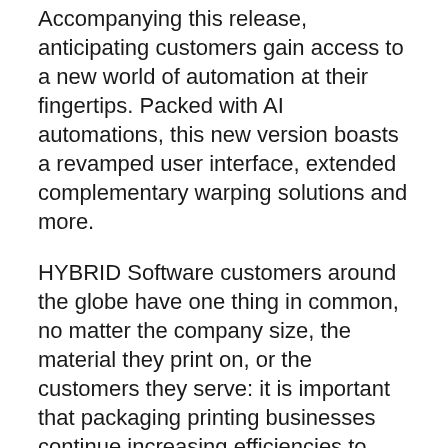Accompanying this release, anticipating customers gain access to a new world of automation at their fingertips. Packed with AI automations, this new version boasts a revamped user interface, extended complementary warping solutions and more.
HYBRID Software customers around the globe have one thing in common, no matter the company size, the material they print on, or the customers they serve: it is important that packaging printing businesses continue increasing efficiencies to meet changing demands.
PACKZ 6.0 leads the way in automation giving customers time saving benefits and a higher success rate while completely sweeping away repetitive tasks from their workflows.
Architect of PACKZ and HYBRID'S Chief Operating Officer, Patrick Coussement, shares, “In the prepress